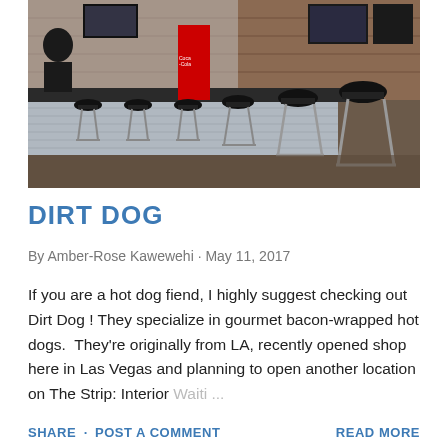[Figure (photo): Interior of a restaurant/bar showing a long counter with black bar stools on chrome bases, corrugated metal bar front, brick wall background, menu boards and TVs on the wall, a red Coca-Cola cooler, and patrons seated at the bar.]
DIRT DOG
By Amber-Rose Kawewehi · May 11, 2017
If you are a hot dog fiend, I highly suggest checking out Dirt Dog ! They specialize in gourmet bacon-wrapped hot dogs.  They're originally from LA, recently opened shop here in Las Vegas and planning to open another location on The Strip: Interior Waiti ...
SHARE · POST A COMMENT      READ MORE